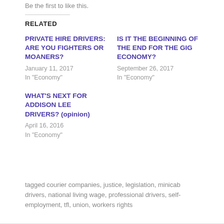Be the first to like this.
RELATED
PRIVATE HIRE DRIVERS: ARE YOU FIGHTERS OR MOANERS?
January 11, 2017
In "Economy"
IS IT THE BEGINNING OF THE END FOR THE GIG ECONOMY?
September 26, 2017
In "Economy"
WHAT'S NEXT FOR ADDISON LEE DRIVERS? (opinion)
April 16, 2016
In "Economy"
tagged courier companies, justice, legislation, minicab drivers, national living wage, professional drivers, self-employment, tfl, union, workers rights